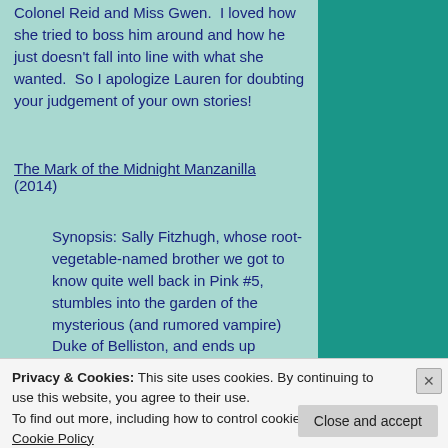Colonel Reid and Miss Gwen.  I loved how she tried to boss him around and how he just doesn't fall into line with what she wanted.  So I apologize Lauren for doubting your judgement of your own stories!
The Mark of the Midnight Manzanilla (2014)
Synopsis: Sally Fitzhugh, whose root-vegetable-named brother we got to know quite well back in Pink #5, stumbles into the garden of the mysterious (and rumored vampire) Duke of Belliston, and ends up helping him uncover the truth
Privacy & Cookies: This site uses cookies. By continuing to use this website, you agree to their use.
To find out more, including how to control cookies, see here: Cookie Policy
Close and accept